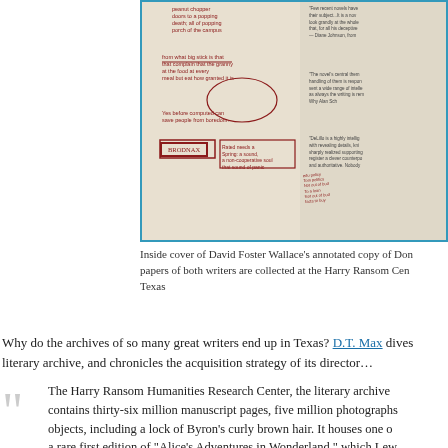[Figure (photo): Inside cover of David Foster Wallace's annotated copy of a book, showing handwritten red ink annotations, diagrams, and notes in a notebook. The word BRODNAX is visible in a box. Papers of both writers are collected at the Harry Ransom Center.]
Inside cover of David Foster Wallace's annotated copy of Don… papers of both writers are collected at the Harry Ransom Cen… Texas
Why do the archives of so many great writers end up in Texas? D.T. Max dives into the literary archive, and chronicles the acquisition strategy of its director…
The Harry Ransom Humanities Research Center, the literary archive… contains thirty-six million manuscript pages, five million photographs… objects, including a lock of Byron's curly brown hair. It houses one of… a rare first edition of "Alice's Adventures in Wonderland," which Lew… thought poorly printed, and which they suppressed; one of Jack Ker… Road"; and Ezra Pound's copy of "The Waste Land," in which Eliot s…